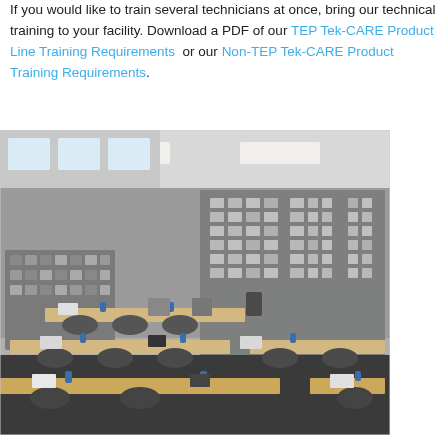If you would like to train several technicians at once, bring our technical training to your facility. Download a PDF of our TEP Tek-CARE Product Line Training Requirements or our Non-TEP Tek-CARE Product Training Requirements.
[Figure (photo): A training classroom with rows of light wood tables, office chairs, blue water bottles and notepads on the tables, and a wall covered with various product samples/modules on the right side.]